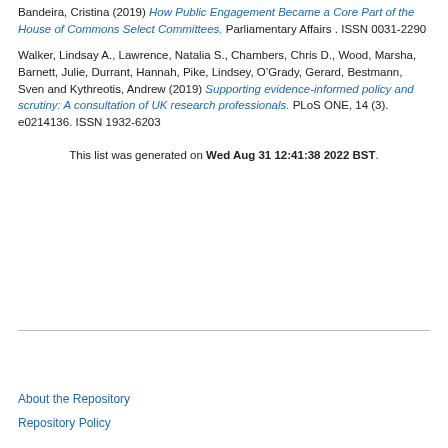Bandeira, Cristina (2019) How Public Engagement Became a Core Part of the House of Commons Select Committees. Parliamentary Affairs . ISSN 0031-2290
Walker, Lindsay A., Lawrence, Natalia S., Chambers, Chris D., Wood, Marsha, Barnett, Julie, Durrant, Hannah, Pike, Lindsey, O'Grady, Gerard, Bestmann, Sven and Kythreotis, Andrew (2019) Supporting evidence-informed policy and scrutiny: A consultation of UK research professionals. PLoS ONE, 14 (3). e0214136. ISSN 1932-6203
This list was generated on Wed Aug 31 12:41:38 2022 BST.
About the Repository
Repository Policy